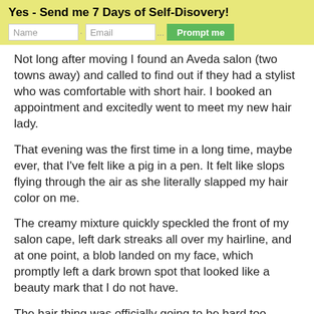Yes - Send me 7 Days of Self-Disovery!
Not long after moving I found an Aveda salon (two towns away) and called to find out if they had a stylist who was comfortable with short hair. I booked an appointment and excitedly went to meet my new hair lady.
That evening was the first time in a long time, maybe ever, that I've felt like a pig in a pen. It felt like slops flying through the air as she literally slapped my hair color on me.
The creamy mixture quickly speckled the front of my salon cape, left dark streaks all over my hairline, and at one point, a blob landed on my face, which promptly left a dark brown spot that looked like a beauty mark that I do not have.
The hair thing was officially going to be hard too.